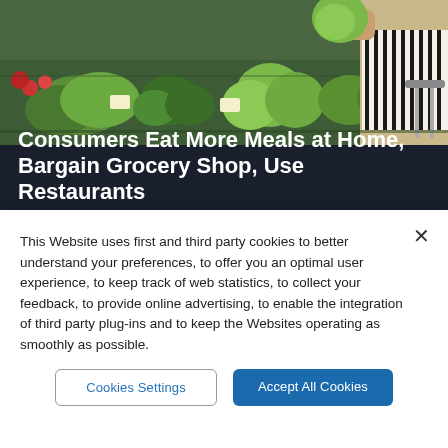[Figure (photo): Grocery store produce section with green vegetables including broccoli, cabbage, and leafy greens. A person in a striped shirt is holding a cabbage head near a shopping cart.]
Consumers Eat More Meals at Home, Bargain Grocery Shop, Use Restaurants
This Website uses first and third party cookies to better understand your preferences, to offer you an optimal user experience, to keep track of web statistics, to collect your feedback, to provide online advertising, to enable the integration of third party plug-ins and to keep the Websites operating as smoothly as possible.
Cookies Settings
Accept All Cookies